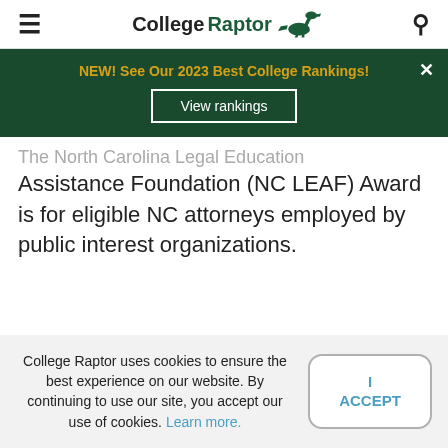CollegeRaptor
[Figure (infographic): Dark green banner with gold bold text: NEW! See Our 2023 Best College Rankings! and a View rankings button with white border. X close button top right.]
The North Carolina Legal Education Assistance Foundation (NC LEAF) Award is for eligible NC attorneys employed by public interest organizations.
College Raptor uses cookies to ensure the best experience on our website. By continuing to use our site, you accept our use of cookies. Learn more.